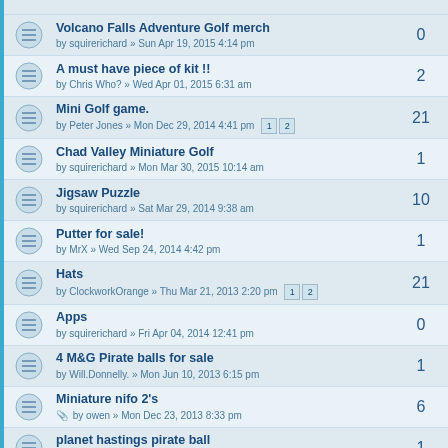Volcano Falls Adventure Golf merch by squirerichard » Sun Apr 19, 2015 4:14 pm | replies: 0
A must have piece of kit !! by Chris Who? » Wed Apr 01, 2015 6:31 am | replies: 2
Mini Golf game. by Peter Jones » Mon Dec 29, 2014 4:41 pm | pages: 1 2 | replies: 21
Chad Valley Miniature Golf by squirerichard » Mon Mar 30, 2015 10:14 am | replies: 1
Jigsaw Puzzle by squirerichard » Sat Mar 29, 2014 9:38 am | replies: 10
Putter for sale! by MrX » Wed Sep 24, 2014 4:42 pm | replies: 1
Hats by ClockworkOrange » Thu Mar 21, 2013 2:20 pm | pages: 1 2 | replies: 21
Apps by squirerichard » Fri Apr 04, 2014 12:41 pm | replies: 0
4 M&G Pirate balls for sale by Will.Donnelly. » Mon Jun 10, 2013 6:15 pm | replies: 1
Miniature nifo 2's by owen » Mon Dec 23, 2013 8:33 pm | replies: 6
planet hastings pirate ball by perfect par » Sun Dec 08, 2013 1:38 am | replies: 1